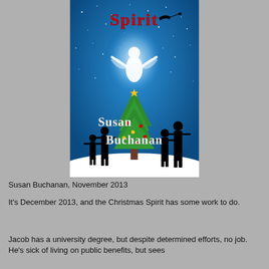[Figure (illustration): Book cover for a Christmas-themed novel. Blue snowy night sky with stars. Title 'Spirit' in red letters at top. A glowing white angel figure in the center. A Christmas tree below. Black silhouettes of people on sides. Santa's sleigh in upper right. Author name 'Susan Buchanan' in white/grey decorative text at bottom.]
Susan Buchanan, November 2013
It's December 2013, and the Christmas Spirit has some work to do.
Jacob has a university degree, but despite determined efforts, no job. He's sick of living on public benefits, but sees